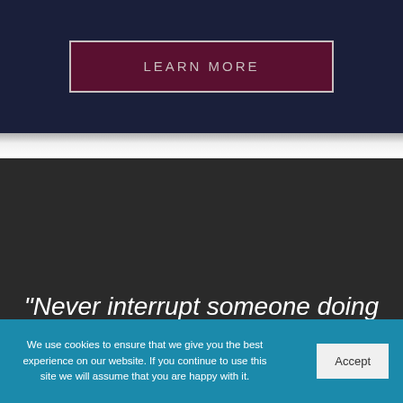[Figure (screenshot): Dark navy blue banner section with a dark red/maroon button labeled LEARN MORE in uppercase spaced letters, surrounded by a light border.]
“Never interrupt someone doing something you said couldn’t be done.”
We use cookies to ensure that we give you the best experience on our website. If you continue to use this site we will assume that you are happy with it.